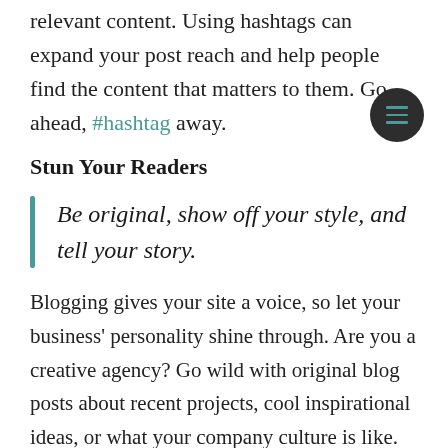relevant content. Using hashtags can expand your post reach and help people find the content that matters to them. Go ahead, #hashtag away.
Stun Your Readers
Be original, show off your style, and tell your story.
Blogging gives your site a voice, so let your business' personality shine through. Are you a creative agency? Go wild with original blog posts about recent projects, cool inspirational ideas, or what your company culture is like. Add images, and videos to really spice it up, and pepper it with slang to keep readers interested. Are you a